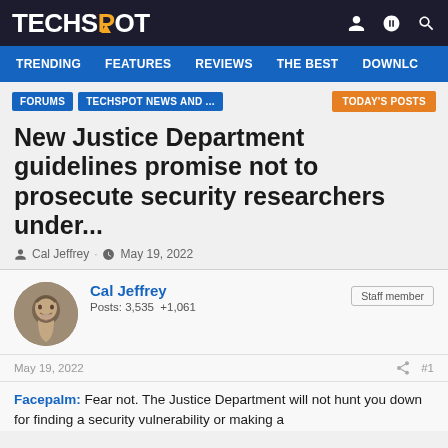TECHSPOT
TRENDING  FEATURES  REVIEWS  THE BEST  DOWNLC
FORUMS  TECHSPOT NEWS AND ...  TODAY'S POSTS
New Justice Department guidelines promise not to prosecute security researchers under...
Cal Jeffrey · May 19, 2022
Cal Jeffrey
Posts: 3,535  +1,061
Staff member
May 19, 2022  #1
Facepalm: Fear not. The Justice Department will not hunt you down for finding a security vulnerability or making a